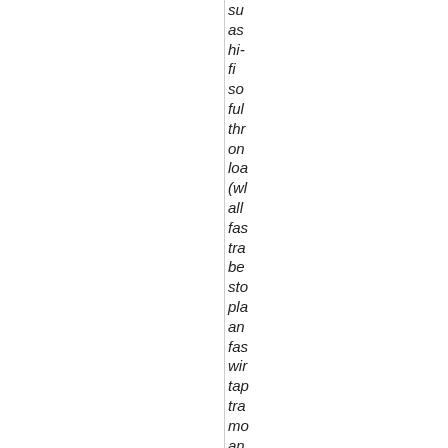su
as
hi-
fi
so
ful
thr
on
loa
(w
all
fas
tra
be
sto
pla
an
fas
wir
tap
tra
mo
an